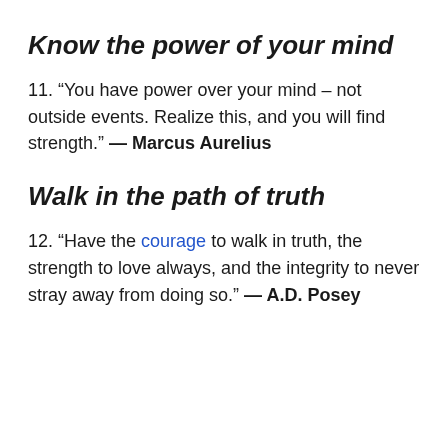Know the power of your mind
11. “You have power over your mind – not outside events. Realize this, and you will find strength.” — Marcus Aurelius
Walk in the path of truth
12. “Have the courage to walk in truth, the strength to love always, and the integrity to never stray away from doing so.” — A.D. Posey